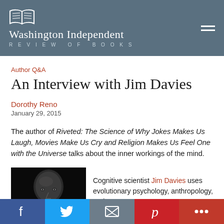Washington Independent REVIEW OF BOOKS
Author Q&A
An Interview with Jim Davies
Dorothy Reno
January 29, 2015
The author of Riveted: The Science of Why Jokes Makes Us Laugh, Movies Make Us Cry and Religion Makes Us Feel One with the Universe talks about the inner workings of the mind.
[Figure (photo): Black and white portrait photo of Jim Davies, a bald man looking at the camera against a dark background]
Cognitive scientist Jim Davies uses evolutionary psychology, anthropology, and
Facebook | Twitter | Email | Pinterest | More